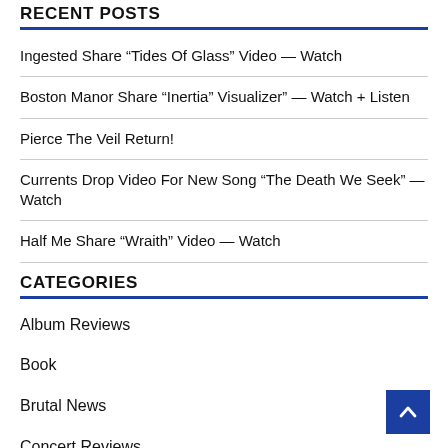RECENT POSTS
Ingested Share “Tides Of Glass” Video — Watch
Boston Manor Share “Inertia” Visualizer” — Watch + Listen
Pierce The Veil Return!
Currents Drop Video For New Song “The Death We Seek” — Watch
Half Me Share “Wraith” Video — Watch
CATEGORIES
Album Reviews
Book
Brutal News
Concert Reviews
Feature